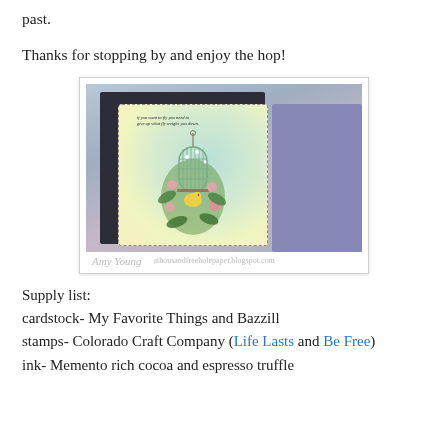past.
Thanks for stopping by and enjoy the hop!
[Figure (photo): Handmade card with a birdcage and floral design, yellow background with dashed border, a yellow bird, pink flowers, and greenery. Text on card reads: 'if you want to fly you need to give up what weighs you down.' Card is propped against a purple envelope on a grey surface. Photo signed by Amy Young with blog URL athousandfreeholepaper.blogspot.com]
Supply list:
cardstock- My Favorite Things and Bazzill
stamps- Colorado Craft Company (Life Lasts and Be Free)
ink- Memento rich cocoa and espresso truffle